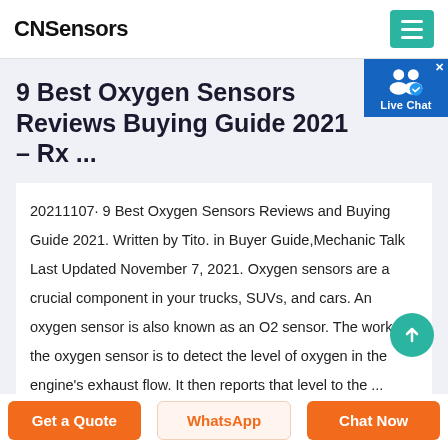CNSensors
9 Best Oxygen Sensors Reviews Buying Guide 2021 – Rx ...
20211107· 9 Best Oxygen Sensors Reviews and Buying Guide 2021. Written by Tito. in Buyer Guide,Mechanic Talk Last Updated November 7, 2021. Oxygen sensors are a crucial component in your trucks, SUVs, and cars. An oxygen sensor is also known as an O2 sensor. The work of the oxygen sensor is to detect the level of oxygen in the engine's exhaust flow. It then reports that level to the ...